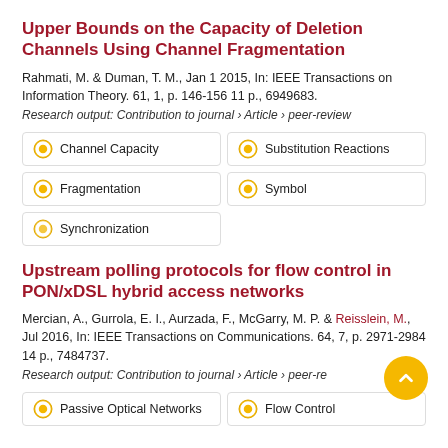Upper Bounds on the Capacity of Deletion Channels Using Channel Fragmentation
Rahmati, M. & Duman, T. M., Jan 1 2015, In: IEEE Transactions on Information Theory. 61, 1, p. 146-156 11 p., 6949683.
Research output: Contribution to journal › Article › peer-review
Channel Capacity
Substitution Reactions
Fragmentation
Symbol
Synchronization
Upstream polling protocols for flow control in PON/xDSL hybrid access networks
Mercian, A., Gurrola, E. I., Aurzada, F., McGarry, M. P. & Reisslein, M., Jul 2016, In: IEEE Transactions on Communications. 64, 7, p. 2971-2984 14 p., 7484737.
Research output: Contribution to journal › Article › peer-review
Passive Optical Networks
Flow Control